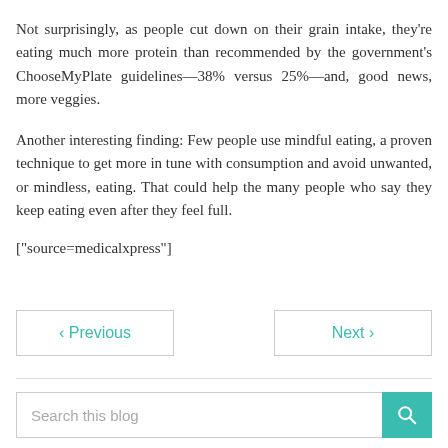Not surprisingly, as people cut down on their grain intake, they're eating much more protein than recommended by the government's ChooseMyPlate guidelines—38% versus 25%—and, good news, more veggies.
Another interesting finding: Few people use mindful eating, a proven technique to get more in tune with consumption and avoid unwanted, or mindless, eating. That could help the many people who say they keep eating even after they feel full.
["source=medicalxpress"]
‹ Previous
Next ›
Search this blog